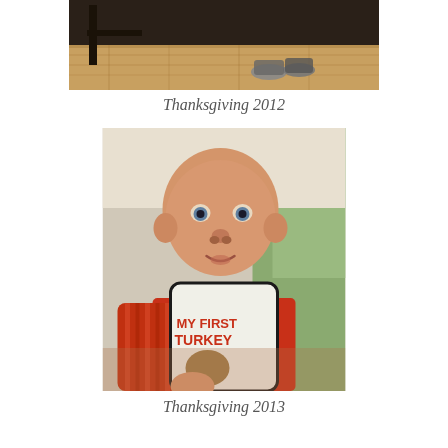[Figure (photo): Partial photo at top showing a wooden floor and feet/shoes, cropped at top of page]
Thanksgiving 2012
[Figure (photo): Photo of a baby wearing a 'My First Turkey' bib and orange striped onesie, looking at camera]
Thanksgiving 2013
I'm so thankful for our first year of marriage, our first pregnancy, and our very first Merfbaby.